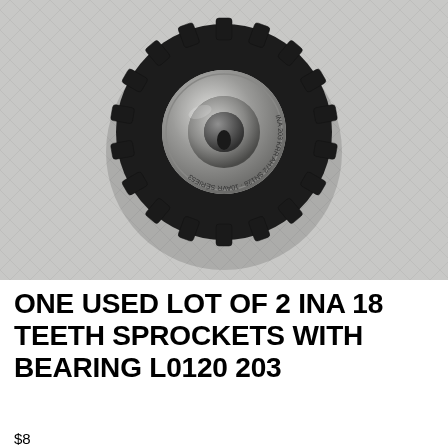[Figure (photo): A black sprocket wheel with 18 teeth and a metal bearing (INA L0120 203) visible in the center hub, photographed from above on a white textured surface.]
ONE USED LOT OF 2 INA 18 TEETH SPROCKETS WITH BEARING L0120 203
$8